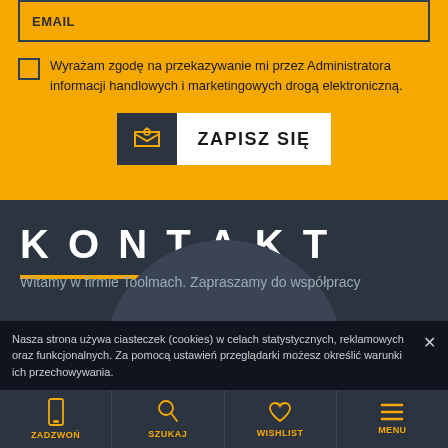EMAIL
Wyrażam zgodę na przekazywanie mi przez Administratora informacji handlowych i marketingowych drogą elektroniczną.
ZAPISZ SIĘ
KONTAKT
Witamy w firmie Toolmach. Zapraszamy do współpracy
Nasza strona używa ciasteczek (cookies) w celach statystycznych, reklamowych oraz funkcjonalnych. Za pomocą ustawień przeglądarki możesz określić warunki ich przechowywania.
ZADZWOŃ | SZUKAJ | WISHLIST | MENU